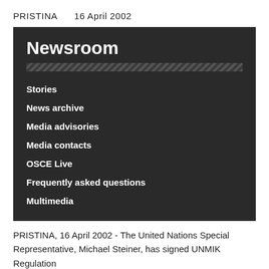PRISTINA    16 April 2002
Newsroom
Stories
News archive
Media advisories
Media contacts
OSCE Live
Frequently asked questions
Multimedia
PRISTINA, 16 April 2002 - The United Nations Special Representative, Michael Steiner, has signed UNMIK Regulation